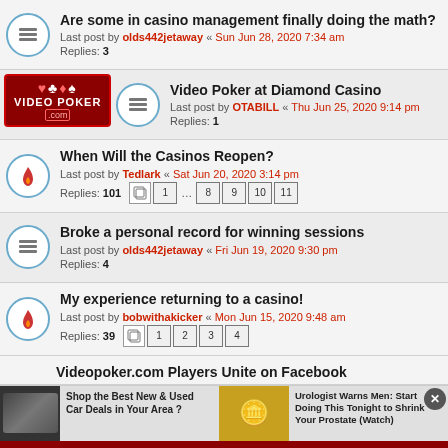Are some in casino management finally doing the math? Last post by olds442jetaway « Sun Jun 28, 2020 7:34 am Replies: 3
Video Poker at Diamond Casino Last post by OTABILL « Thu Jun 25, 2020 9:14 pm Replies: 1
When Will the Casinos Reopen? Last post by Tedlark « Sat Jun 20, 2020 3:14 pm Replies: 101
Broke a personal record for winning sessions Last post by olds442jetaway « Fri Jun 19, 2020 9:30 pm Replies: 4
My experience returning to a casino! Last post by bobwithakicker « Mon Jun 15, 2020 9:48 am Replies: 39
Videopoker.com Players Unite on Facebook
Shop the Best New & Used Car Deals in Your Area ?
Urologist Warns Men: Start Doing This Tonight to Shrink Your Prostate (Watch)
This site uses cookies for personalized content and analytics. By continuing to use this site, you agree to this use. Close